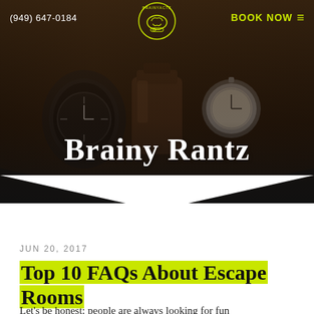[Figure (screenshot): Brainyactz escape room website header with dark background photo showing watch, flask, pocket watch and other items on wooden surface. Brainyactz brain logo in center top. Navigation bar with phone number and BOOK NOW button.]
(949) 647-0184   BOOK NOW
Brainy Rantz
JUN 20, 2017
Top 10 FAQs About Escape Rooms
Let's be honest: people are always looking for fun